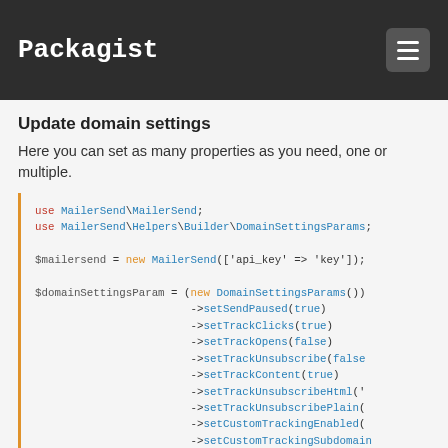Packagist
Update domain settings
Here you can set as many properties as you need, one or multiple.
use MailerSend\MailerSend;
use MailerSend\Helpers\Builder\DomainSettingsParams;

$mailersend = new MailerSend(['api_key' => 'key']);

$domainSettingsParam = (new DomainSettingsParams())
                            ->setSendPaused(true)
                            ->setTrackClicks(true)
                            ->setTrackOpens(false)
                            ->setTrackUnsubscribe(false)
                            ->setTrackContent(true)
                            ->setTrackUnsubscribeHtml('...')
                            ->setTrackUnsubscribePlain(...)
                            ->setCustomTrackingEnabled(...)
                            ->setCustomTrackingSubdomain...

$mailersend->domain->domainSettings($domainId = 'domain...